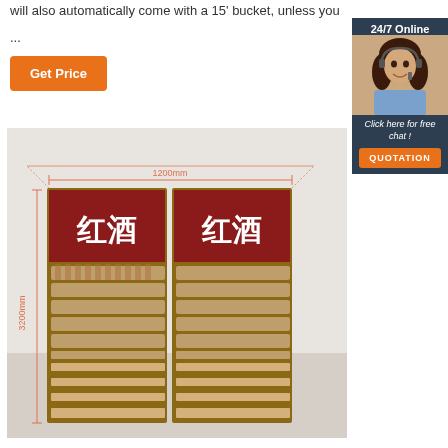will also automatically come with a 15' bucket, unless you ...
Get Price
[Figure (illustration): Customer service representative sidebar with '24/7 Online' header, photo of woman with headset, 'Click here for free chat!' text, and QUOTATION button]
[Figure (photo): 3D rendering of a wine display shelf unit measuring 1200mm wide and 3200mm tall, with red header panels displaying Chinese characters 红酒 (red wine), and multiple angled bottle display rows]